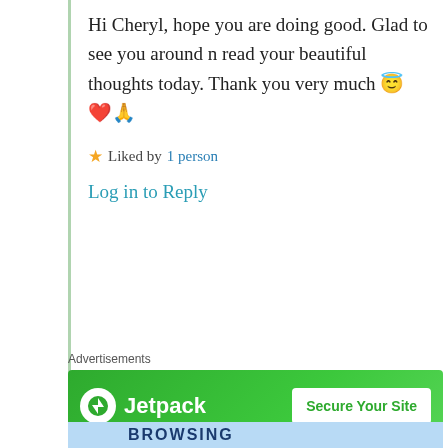Hi Cheryl, hope you are doing good. Glad to see you around n read your beautiful thoughts today. Thank you very much 😇❤️🙏
★ Liked by 1 person
Log in to Reply
Advertisements
[Figure (other): Jetpack advertisement banner with green background showing Jetpack logo and 'Secure Your Site' button]
Privacy & Cookies: This site uses cookies. By continuing to use this website, you agree to their use. To find out more, including how to control cookies, see here: Cookie Policy
Close and accept